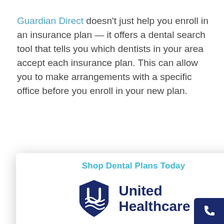Guardian Direct doesn't just help you enroll in an insurance plan — it offers a dental search tool that tells you which dentists in your area accept each insurance plan. This can allow you to make arrangements with a specific office before you enroll in your new plan.
[Figure (screenshot): A modal popup advertisement for UnitedHealthcare dental plans. Contains header 'Shop Dental Plans Today', UnitedHealthcare logo, and a 'GET STARTED' button. A close (X) button appears in the top-right corner of the modal.]